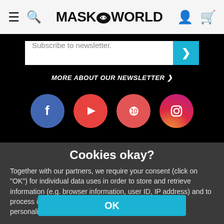MASK WORLD
Subscribe to newsletter.
MORE ABOUT OUR NEWSLETTER >
[Figure (illustration): Social media icons row: Facebook, YouTube, Pinterest, Instagram]
Customer Rating  4.4 / 5
Cookies okay?
Together with our partners, we require your consent (click on "OK") for individual data uses in order to store and retrieve information (e.g. browser information, user ID, IP address) and to process it or have it processed. The data usage is for personalised functionalities, content and ads
OK